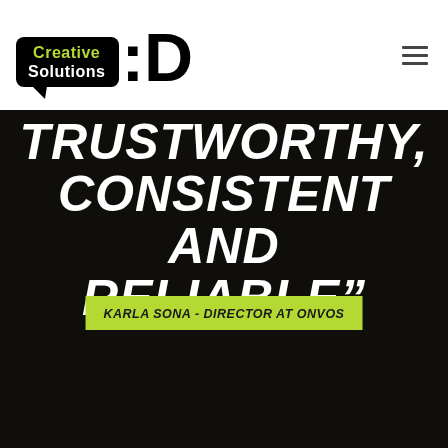[Figure (logo): D Creative Solutions logo with speech bubble containing 'Creative Solutions' text in black background with yellow-green text, and large bold ':D' letters]
TRUSTWORTHY, CONSISTENT AND RELIABLE"
KARLA SONA - DIRECTOR AT ONVOS